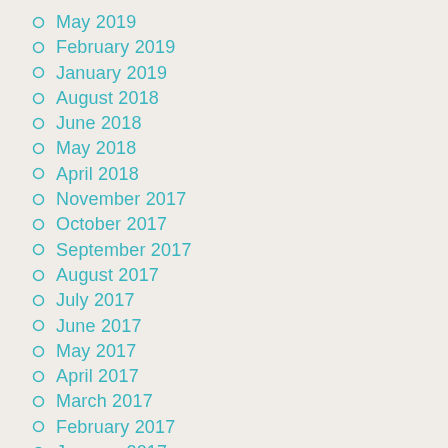May 2019
February 2019
January 2019
August 2018
June 2018
May 2018
April 2018
November 2017
October 2017
September 2017
August 2017
July 2017
June 2017
May 2017
April 2017
March 2017
February 2017
January 2017
December 2016
November 2016